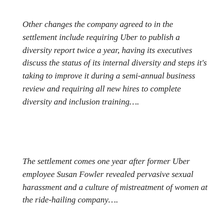Other changes the company agreed to in the settlement include requiring Uber to publish a diversity report twice a year, having its executives discuss the status of its internal diversity and steps it's taking to improve it during a semi-annual business review and requiring all new hires to complete diversity and inclusion training….
The settlement comes one year after former Uber employee Susan Fowler revealed pervasive sexual harassment and a culture of mistreatment of women at the ride-hailing company….
My Take:  Uber seems to be in settlement mode. The $10 million they'll pay to get this case to go away seems like money well spent. Heck, they probably would have spent close to $10 million to pay their lawyers for their…